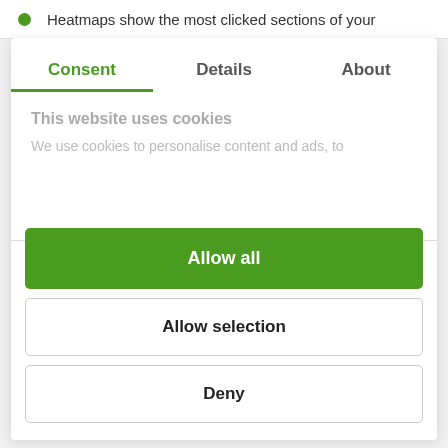Heatmaps show the most clicked sections of your
Consent | Details | About
This website uses cookies
We use cookies to personalise content and ads, to
Allow all
Allow selection
Deny
Powered by Cookiebot by Usercentrics